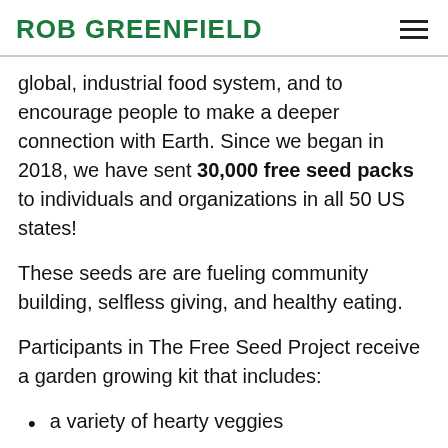ROB GREENFIELD
global, industrial food system, and to encourage people to make a deeper connection with Earth. Since we began in 2018, we have sent 30,000 free seed packs to individuals and organizations in all 50 US states!
These seeds are are fueling community building, selfless giving, and healthy eating.
Participants in The Free Seed Project receive a garden growing kit that includes:
a variety of hearty veggies
(continues below)